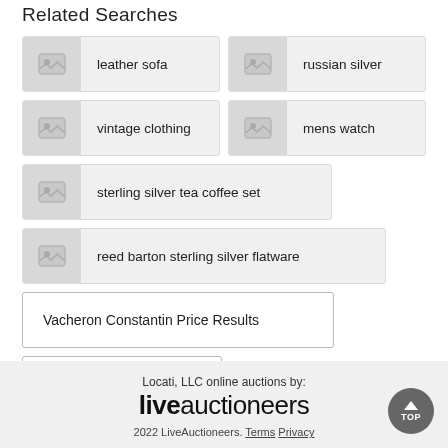Related Searches
leather sofa
russian silver
vintage clothing
mens watch
sterling silver tea coffee set
reed barton sterling silver flatware
Vacheron Constantin Price Results
Auctions in California
Locati, LLC online auctions by: liveauctioneers 2022 LiveAuctioneers. Terms Privacy